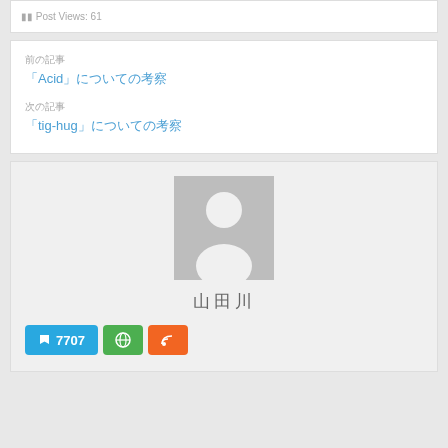Post Views: 61
前の記事
「Acid」についての考察
次の記事
「tig-hug」についての考察
[Figure (illustration): Default user avatar placeholder — grey rectangle with white silhouette of a person]
山田川
7707 (pin/bookmark count), globe icon button, RSS feed icon button